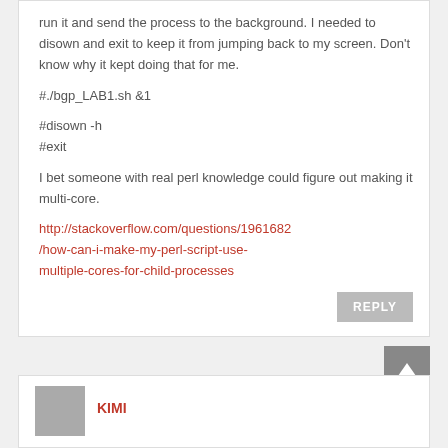run it and send the process to the background. I needed to disown and exit to keep it from jumping back to my screen. Don't know why it kept doing that for me.
#./bgp_LAB1.sh &1
#disown -h
#exit
I bet someone with real perl knowledge could figure out making it multi-core.
http://stackoverflow.com/questions/1961682/how-can-i-make-my-perl-script-use-multiple-cores-for-child-processes
REPLY
KIMI